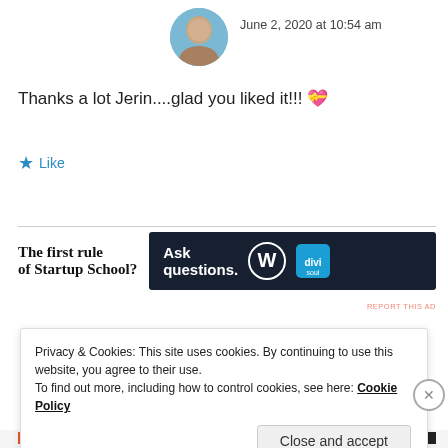[Figure (photo): Circular avatar photo of a person against a blue sky background]
June 2, 2020 at 10:54 am
Thanks a lot Jerin....glad you liked it!!! 💝
★ Like
[Figure (screenshot): Advertisement banner: 'The first rule of Startup School?' with dark panel reading 'Ask questions.' with WordPress and another logo]
REPORT THIS AD
Privacy & Cookies: This site uses cookies. By continuing to use this website, you agree to their use.
To find out more, including how to control cookies, see here: Cookie Policy
Close and accept